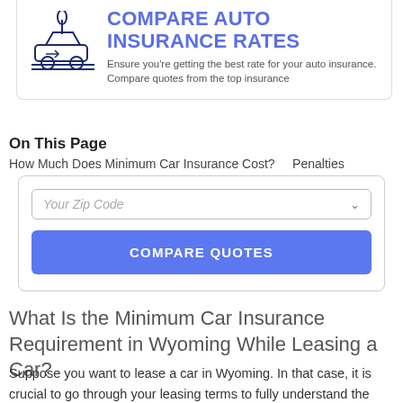COMPARE AUTO INSURANCE RATES
Ensure you're getting the best rate for your auto insurance. Compare quotes from the top insurance
On This Page
How Much Does Minimum Car Insurance Cost?    Penalties
[Figure (screenshot): Zip code input field with placeholder text 'Your Zip Code' and a dropdown chevron]
COMPARE QUOTES
What Is the Minimum Car Insurance Requirement in Wyoming While Leasing a Car?
Suppose you want to lease a car in Wyoming. In that case, it is crucial to go through your leasing terms to fully understand the minimum insurance requirements of the